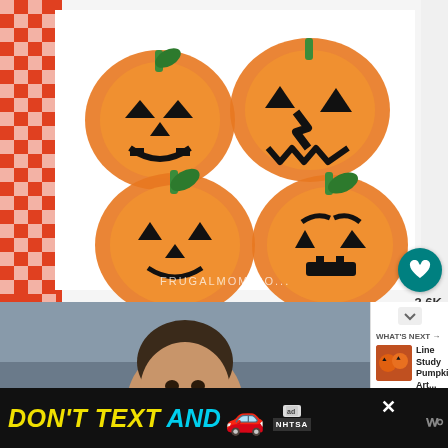[Figure (photo): Four jack-o-lantern pumpkin faces made from orange paint handprints/footprints on white paper, with black facial features and green stems, on a red and white checkered background. Watermark reads FRUGALMOM.COM.]
[Figure (photo): A child looking at the camera, partially visible, with blurred classroom background.]
WHAT'S NEXT →
Line Study Pumpkin Art...
[Figure (photo): Thumbnail of pumpkin art for 'What's Next' panel.]
[Figure (infographic): NHTSA advertisement banner: DON'T TEXT AND [car emoji]. Includes 'ad' badge and NHTSA logo. Close button X visible. Weather widget icon on far right.]
3.6K